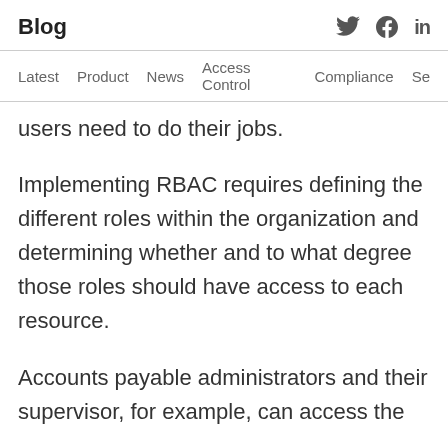Blog
users need to do their jobs.
Implementing RBAC requires defining the different roles within the organization and determining whether and to what degree those roles should have access to each resource.
Accounts payable administrators and their supervisor, for example, can access the